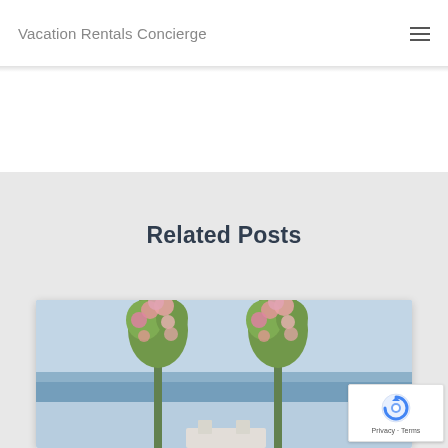Vacation Rentals Concierge
Related Posts
[Figure (photo): Beach wedding scene with two tall floral arrangements (palm-like poles decorated with pink and white flowers) against a light blue sky, with an ocean backdrop and white chairs/furniture partially visible at the bottom.]